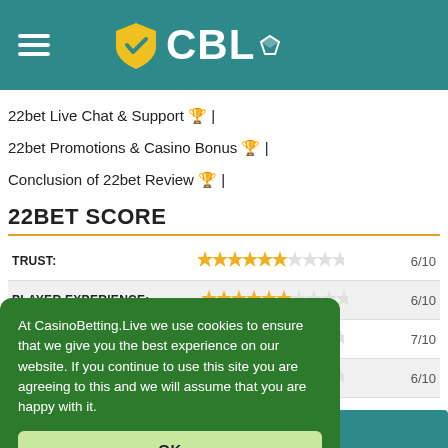[Figure (logo): CBL logo with teal header background, hamburger menu icon on left, yellow shield with checkmark and CBL text with diamond icon]
22bet Live Chat & Support 🏆 |
22bet Promotions & Casino Bonus 🏆 |
Conclusion of 22bet Review 🏆 |
22BET SCORE
| Category | Stars | Score |
| --- | --- | --- |
| TRUST: | 6 filled stars out of 10 | 6/10 |
| PLAYER EXPERIENCE: | 6 filled stars out of 10 | 6/10 |
| (partial row) | 7 filled stars out of 10 | 7/10 |
| (partial row) | 6 filled stars out of 10 | 6/10 |
At CasinoBetting.Live we use cookies to ensure that we give you the best experience on our website. If you continue to use this site you are agreeing to this and we will assume that you are happy with it.
OK